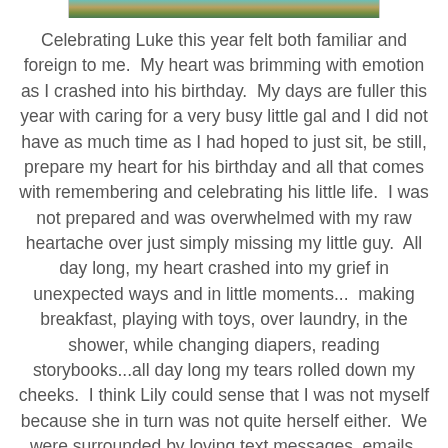[Figure (photo): Partial photo strip showing a colorful outdoor scene with teal/green tones, cropped at top of page]
Celebrating Luke this year felt both familiar and foreign to me.  My heart was brimming with emotion as I crashed into his birthday.  My days are fuller this year with caring for a very busy little gal and I did not have as much time as I had hoped to just sit, be still, prepare my heart for his birthday and all that comes with remembering and celebrating his little life.  I was not prepared and was overwhelmed with my raw heartache over just simply missing my little guy.  All day long, my heart crashed into my grief in unexpected ways and in little moments...  making breakfast, playing with toys, over laundry, in the shower, while changing diapers, reading storybooks...all day long my tears rolled down my cheeks.  I think Lily could sense that I was not myself because she in turn was not quite herself either.  We were surrounded by loving text messages, emails, phone calls, cards, flowers and genuinely felt the love of so many people holding us close.  It was just a day of beautiful struggle and sadness that Luke was not here to eat his birthday cake, or play with the balloons or open presents or make a mess or make us laugh with his energy and smile.  So much missing, but also